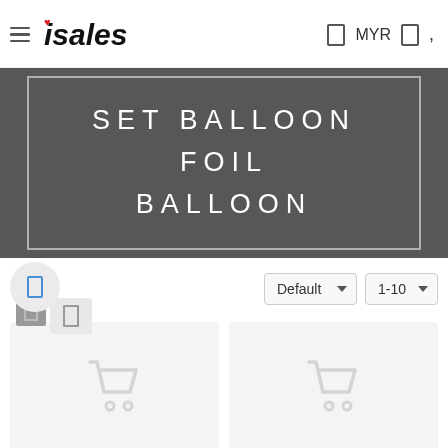isales — MYR
[Figure (screenshot): isales e-commerce website header with hamburger menu, isales logo with red heart, MYR currency selector and icons]
SET BALLOON FOIL BALLOON
[Figure (screenshot): View toggle icons (grid/list) and sort dropdown selectors showing Default and 1-10]
[Figure (screenshot): Two product placeholder cards with shopping cart icons]